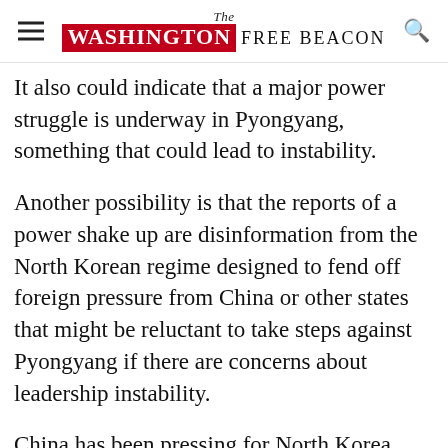The Washington Free Beacon
It also could indicate that a major power struggle is underway in Pyongyang, something that could lead to instability.
Another possibility is that the reports of a power shake up are disinformation from the North Korean regime designed to fend off foreign pressure from China or other states that might be reluctant to take steps against Pyongyang if there are concerns about leadership instability.
China has been pressing for North Korea, South Korea, Japan, the United States, and Russia to rejoin stalled talks on North Korea's nuclear program.